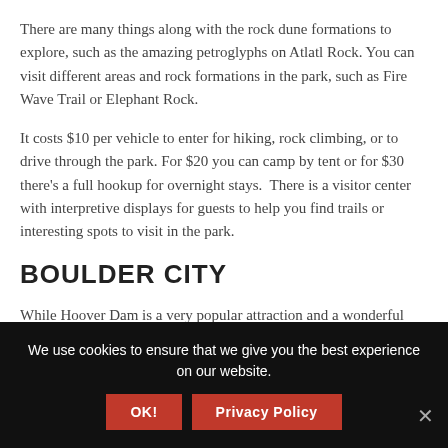There are many things along with the rock dune formations to explore, such as the amazing petroglyphs on Atlatl Rock. You can visit different areas and rock formations in the park, such as Fire Wave Trail or Elephant Rock.
It costs $10 per vehicle to enter for hiking, rock climbing, or to drive through the park. For $20 you can camp by tent or for $30 there's a full hookup for overnight stays.  There is a visitor center with interpretive displays for guests to help you find trails or interesting spots to visit in the park.
BOULDER CITY
While Hoover Dam is a very popular attraction and a wonderful
We use cookies to ensure that we give you the best experience on our website.